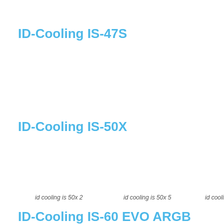ID-Cooling IS-47S
ID-Cooling IS-50X
id cooling is 50x 2
id cooling is 50x 5
id cooling is 50x 7
ID-Cooling IS-60 EVO ARGB